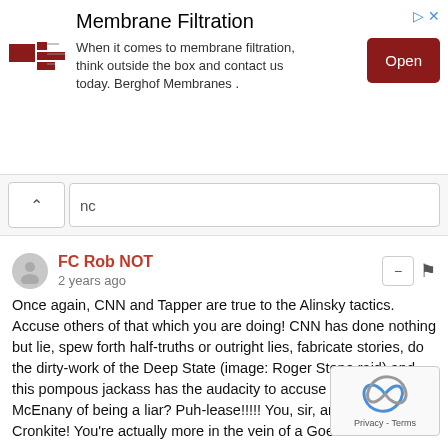[Figure (other): Advertisement banner for Membrane Filtration by Berghof Membranes. Shows company logo, title 'Membrane Filtration', body text 'When it comes to membrane filtration, think outside the box and contact us today. Berghof Membranes', and an 'Open' button in dark red.]
nc
FC Rob NOT
2 years ago
Once again, CNN and Tapper are true to the Alinsky tactics. Accuse others of that which you are doing! CNN has done nothing but lie, spew forth half-truths or outright lies, fabricate stories, do the dirty-work of the Deep State (image: Roger Stone raid) and this pompous jackass has the audacity to accuse Kayleigh McEnany of being a liar? Puh-lease!!!!! You, sir, are no Walter Cronkite! You're actually more in the vein of a Goebbels!
2  ∧  |  ∨  Reply
rbj
2 years ago
Jack Tapper is a Democrat propagandist. As is the rest of